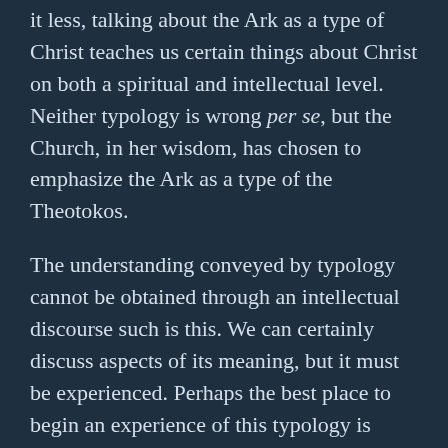it less, talking about the Ark as a type of Christ teaches us certain things about Christ on both a spiritual and intellectual level. Neither typology is wrong per se, but the Church, in her wisdom, has chosen to emphasize the Ark as a type of the Theotokos.
The understanding conveyed by typology cannot be obtained through an intellectual discourse such is this. We can certainly discuss aspects of its meaning, but it must be experienced. Perhaps the best place to begin an experience of this typology is participation in the feasts of the Church. As Saint Jerome extended the metaphor of the Ark to the monastic life, the late Protopresbyter Thomas Hopko extended the metaphor to everyone. In